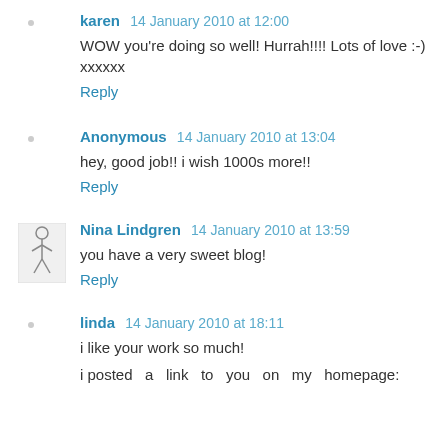karen 14 January 2010 at 12:00
WOW you're doing so well! Hurrah!!!! Lots of love :-) xxxxxx
Reply
Anonymous 14 January 2010 at 13:04
hey, good job!! i wish 1000s more!!
Reply
Nina Lindgren 14 January 2010 at 13:59
you have a very sweet blog!
Reply
linda 14 January 2010 at 18:11
i like your work so much!
i posted a link to you on my homepage: